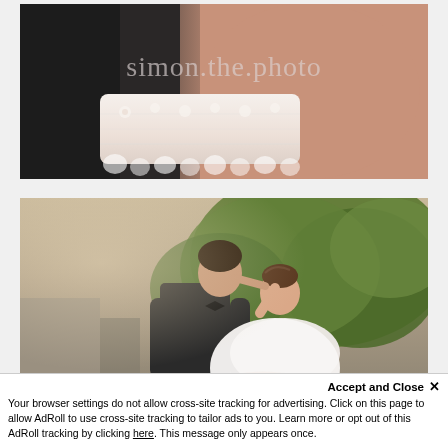[Figure (photo): Close-up photo of a bride's arm/wrist wearing a lace glove or bracelet, with a groom's dark suit visible. Watermark 'simon.the.photo' overlaid in light gray text.]
[Figure (photo): Outdoor wedding photo of a groom in a dark suit with bow tie carrying and kissing a bride in a white dress, with green trees in the background. Watermark 'simon.the.photo' overlaid at the bottom.]
Accept and Close ✕
Your browser settings do not allow cross-site tracking for advertising. Click on this page to allow AdRoll to use cross-site tracking to tailor ads to you. Learn more or opt out of this AdRoll tracking by clicking here. This message only appears once.